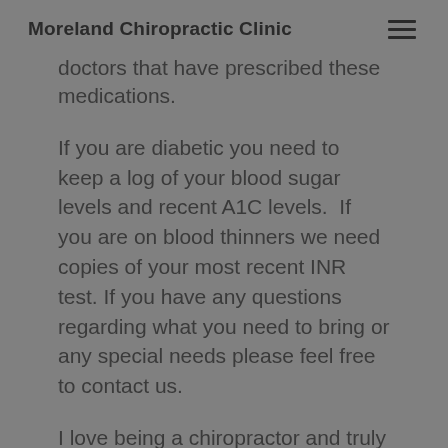Moreland Chiropractic Clinic
doctors that have prescribed these medications.
If you are diabetic you need to keep a log of your blood sugar levels and recent A1C levels.  If you are on blood thinners we need copies of your most recent INR test. If you have any questions regarding what you need to bring or any special needs please feel free to contact us.
I love being a chiropractor and truly enjoy my patients.